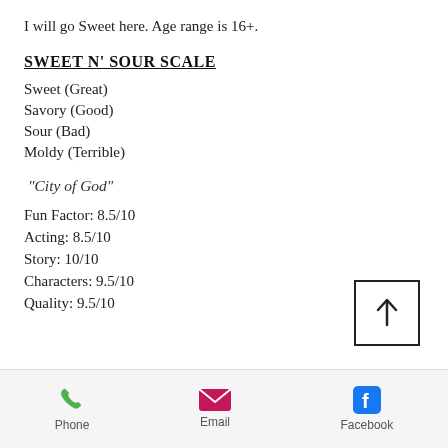I will go Sweet here. Age range is 16+.
SWEET N' SOUR SCALE
Sweet (Great)
Savory (Good)
Sour (Bad)
Moldy (Terrible)
"City of God"
Fun Factor: 8.5/10
Acting: 8.5/10
Story: 10/10
Characters: 9.5/10
Quality: 9.5/10
Phone  Email  Facebook